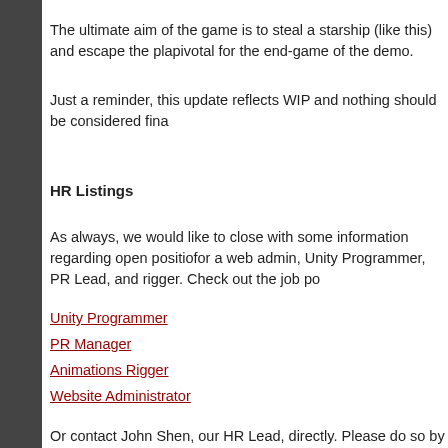The ultimate aim of the game is to steal a starship (like this) and escape the pla... pivotal for the end-game of the demo.
Just a reminder, this update reflects WIP and nothing should be considered fina...
HR Listings
As always, we would like to close with some information regarding open positio... for a web admin, Unity Programmer, PR Lead, and rigger. Check out the job po...
Unity Programmer
PR Manager
Animations Rigger
Website Administrator
Or contact John Shen, our HR Lead, directly. Please do so by emailing him with...
PR News